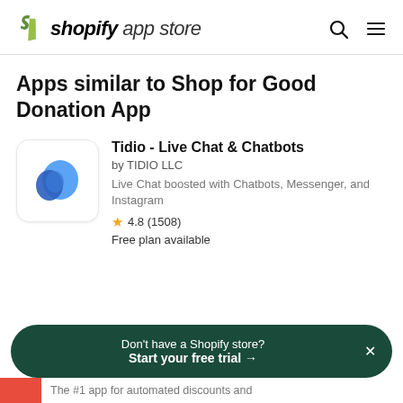shopify app store
Apps similar to Shop for Good Donation App
Tidio - Live Chat & Chatbots
by TIDIO LLC
Live Chat boosted with Chatbots, Messenger, and Instagram
4.8 (1508)
Free plan available
Don't have a Shopify store? Start your free trial →
The #1 app for automated discounts and